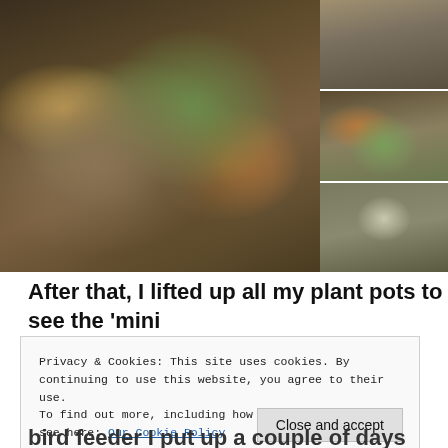[Figure (photo): Main large photo showing ants or insects on ground cover with leaves and moss, dark earthy tones. Three smaller thumbnail photos on the right side stacked vertically showing similar outdoor ground/garden scenes.]
After that, I lifted up all my plant pots to see the 'mini
Privacy & Cookies: This site uses cookies. By continuing to use this website, you agree to their use.
To find out more, including how to control cookies, see here: Our Cookie Policy
Close and accept
bird feeder I put up a couple of days ago.